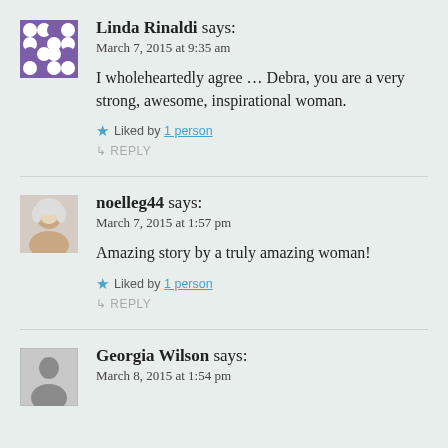Linda Rinaldi says: March 7, 2015 at 9:35 am
I wholeheartedly agree … Debra, you are a very strong, awesome, inspirational woman.
Liked by 1 person
REPLY
noelleg44 says: March 7, 2015 at 1:57 pm
Amazing story by a truly amazing woman!
Liked by 1 person
REPLY
Georgia Wilson says: March 8, 2015 at 1:54 pm